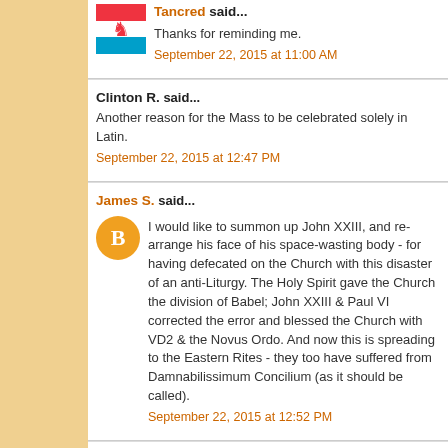Tancred said...
Thanks for reminding me.
September 22, 2015 at 11:00 AM
Clinton R. said...
Another reason for the Mass to be celebrated solely in Latin.
September 22, 2015 at 12:47 PM
James S. said...
I would like to summon up John XXIII, and re-arrange his face of his space-wasting body - for having defecated on the Church with this disaster of an anti-Liturgy. The Holy Spirit gave the Church the division of Babel; John XXIII & Paul VI corrected the error and blessed the Church with VD2 & the Novus Ordo. And now this is spreading to the Eastern Rites - they too have suffered from Damnabilissimum Concilium (as it should be called).
September 22, 2015 at 12:52 PM
Anonymous said...
This comment has been removed by a blog administrator.
September 22, 2015 at 1:01 PM